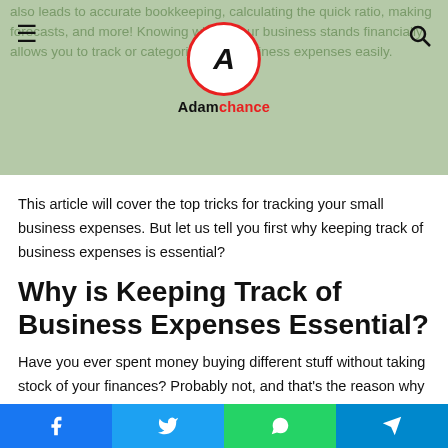also leads to accurate bookkeeping, calculating the quick ratio, making forecasts, and more! Knowing where your business stands financially allows you to track or categorize your business expenses easily.
This article will cover the top tricks for tracking your small business expenses. But let us tell you first why keeping track of business expenses is essential?
Why is Keeping Track of Business Expenses Essential?
Have you ever spent money buying different stuff without taking stock of your finances? Probably not, and that's the reason why small businesses fail. They have poor cash flow management, so they can't pay salaries to their workers, or
Facebook Twitter WhatsApp Telegram